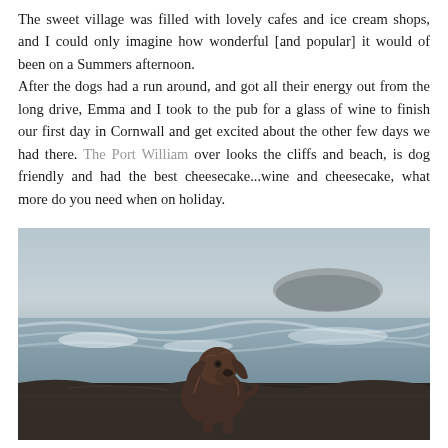The sweet village was filled with lovely cafes and ice cream shops, and I could only imagine how wonderful [and popular] it would of been on a Summers afternoon.
After the dogs had a run around, and got all their energy out from the long drive, Emma and I took to the pub for a glass of wine to finish our first day in Cornwall and get excited about the other few days we had there. The Port William over looks the cliffs and beach, is dog friendly and had the best cheesecake...wine and cheesecake, what more do you need when on holiday.
[Figure (photo): A brown spaniel dog sitting on rocky coastal ground, looking upward, with misty ocean waves and a large rock formation in the background.]